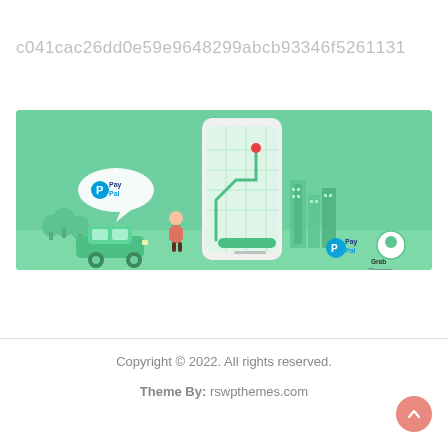c041cac26dd0e59e9648299abcb93346f5261131
[Figure (illustration): Promotional banner with green background showing a smartphone with a ride-hailing app map interface, a green car, a person, trees, buildings, a PayPal speech bubble logo, and PayPal and Grab Rewards logos at the bottom right.]
Copyright © 2022. All rights reserved.
Theme By: rswpthemes.com